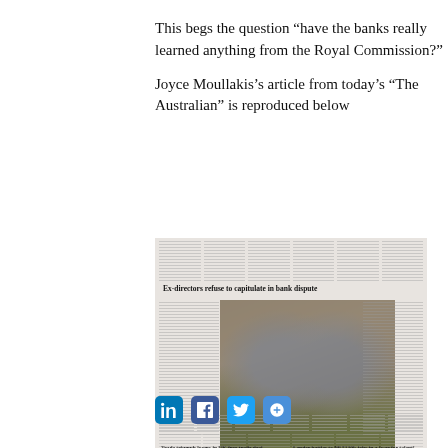This begs the question “have the banks really learned anything from the Royal Commission?”
Joyce Moullakis’s article from today’s “The Australian” is reproduced below
[Figure (photo): A scanned newspaper page from The Australian showing the article 'Ex-directors refuse to capitulate in bank dispute' with a photo of two men seated, and lower headlines including 'Trade triumph looms in UK free-trade deal' and 'Lender battles to fill 5130k jobs in a war for talent']
[Figure (other): Social media sharing icons: LinkedIn, Facebook, Twitter, and a share/add button]